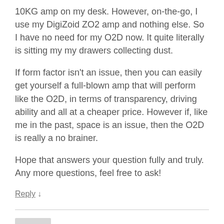10KG amp on my desk. However, on-the-go, I use my DigiZoid ZO2 amp and nothing else. So I have no need for my O2D now. It quite literally is sitting my my drawers collecting dust.
If form factor isn't an issue, then you can easily get yourself a full-blown amp that will perform like the O2D, in terms of transparency, driving ability and all at a cheaper price. However if, like me in the past, space is an issue, then the O2D is really a no brainer.
Hope that answers your question fully and truly.
Any more questions, feel free to ask!
Reply ↓
Mike
April 3, 2014 at 5:51 PM